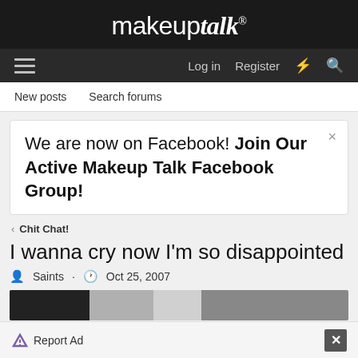makeuptalk®
≡   Log in   Register   ⚡   🔍
New posts   Search forums
We are now on Facebook! Join Our Active Makeup Talk Facebook Group!
< Chit Chat!
I wanna cry now I'm so disappointed
Saints · Oct 25, 2007
Report Ad